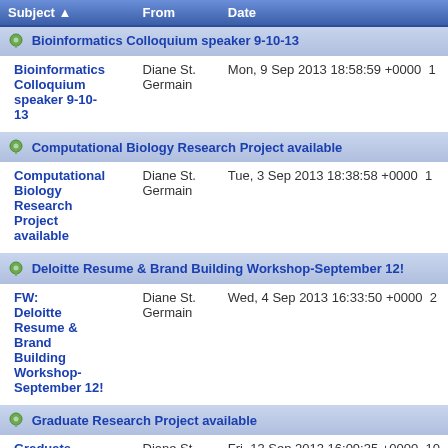| Subject | From | Date |
| --- | --- | --- |
| Bioinformatics Colloquium speaker 9-10-13 |  |  |
| Bioinformatics Colloquium speaker 9-10-13 | Diane St. Germain | Mon, 9 Sep 2013 18:58:59 +0000 | 1 |
| Computational Biology Research Project available |  |  |
| Computational Biology Research Project available | Diane St. Germain | Tue, 3 Sep 2013 18:38:58 +0000 | 1 |
| Deloitte Resume & Brand Building Workshop-September 12! |  |  |
| FW: Deloitte Resume & Brand Building Workshop-September 12! | Diane St. Germain | Wed, 4 Sep 2013 16:33:50 +0000 | 2 |
| Graduate Research Project available |  |  |
| Graduate Research Project available | Diane St. Germain | Fri, 13 Sep 2013 16:09:35 +0000 | 10 |